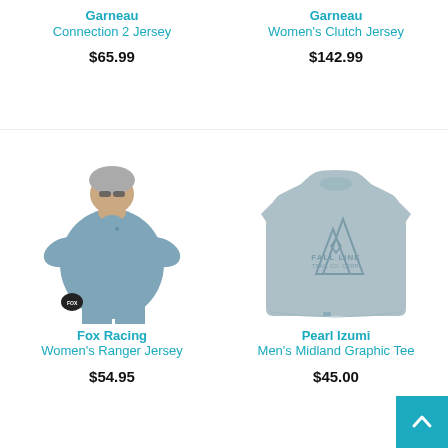Garneau
Connection 2 Jersey
$65.99
Garneau
Women's Clutch Jersey
$142.99
[Figure (photo): Woman wearing a blue-grey short-sleeve cycling jersey with helmet and gloves - Fox Racing Women's Ranger Jersey]
Fox Racing
Women's Ranger Jersey
$54.95
[Figure (photo): Light grey short-sleeve t-shirt with mountain graphic and 'FALL LINE' text - Pearl Izumi Men's Midland Graphic Tee]
Pearl Izumi
Men's Midland Graphic Tee
$45.00